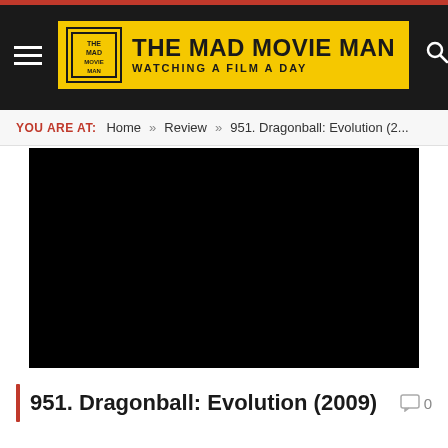THE MAD MOVIE MAN — WATCHING A FILM A DAY
YOU ARE AT: Home » Review » 951. Dragonball: Evolution (2...
[Figure (photo): Black video player embed area]
951. Dragonball: Evolution (2009)